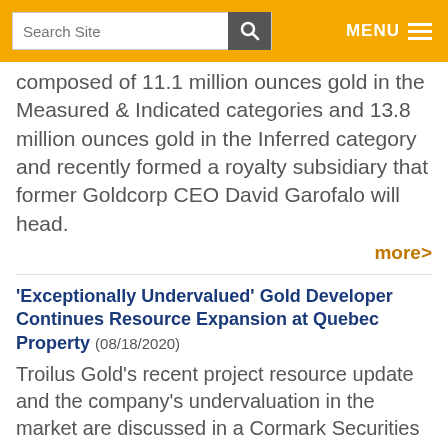Search Site | MENU
composed of 11.1 million ounces gold in the Measured & Indicated categories and 13.8 million ounces gold in the Inferred category and recently formed a royalty subsidiary that former Goldcorp CEO David Garofalo will head.
more>
'Exceptionally Undervalued' Gold Developer Continues Resource Expansion at Quebec Property (08/18/2020)
Troilus Gold's recent project resource update and the company's undervaluation in the market are discussed in a Cormark Securities report.
more>
Explorer Retests High-Grade Feeder with Wedge Hole at Fiji Project (08/18/2020)